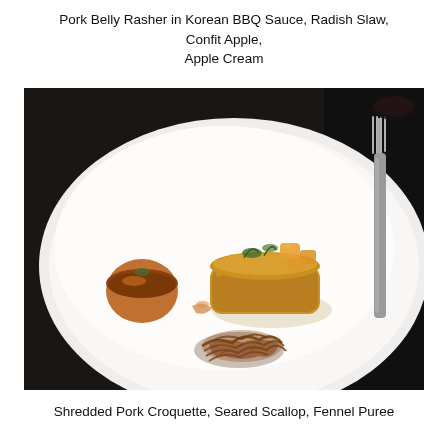Pork Belly Rasher in Korean BBQ Sauce, Radish Slaw, Confit Apple, Apple Cream
[Figure (photo): Fine dining plate on a dark table with a white round plate holding a seared scallop on the left, a breaded pork croquette in the center-right garnished with herbs and confit apple pieces, and fried shredded pork at the bottom center. A fork is visible on the right side of the dark background.]
Shredded Pork Croquette, Seared Scallop, Fennel Puree